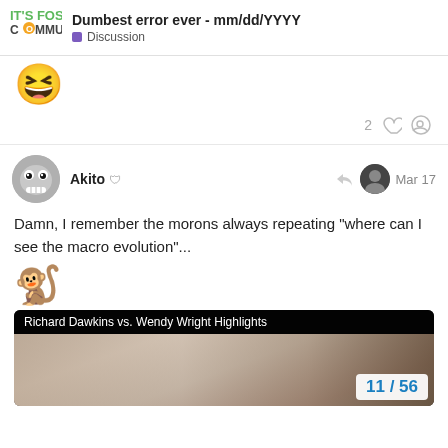IT'S FOSS COMMUNITY — Dumbest error ever - mm/dd/YYYY — Discussion
[Figure (other): Large laughing emoji 😆]
2 ♡ 🔗
Akito  — Mar 17
Damn, I remember the morons always repeating "where can I see the macro evolution"...
[Figure (other): Monkey emoji 🐒]
[Figure (screenshot): Video thumbnail: Richard Dawkins vs. Wendy Wright Highlights — blurry video still of two people]
11 / 56